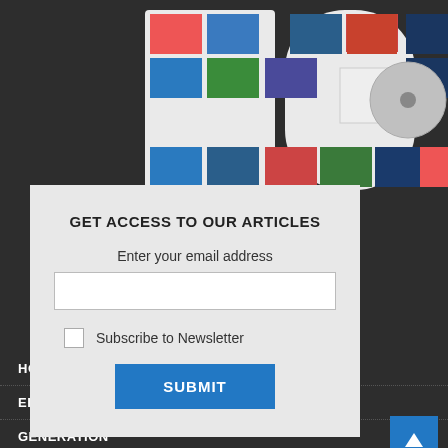[Figure (illustration): Magazine covers arranged in a '40' anniversary logo shape against dark background]
GET ACCESS TO OUR ARTICLES
Enter your email address
Subscribe to Newsletter
SUBMIT
HOME
EDITORIAL
GENERATION
TRANSMISSION